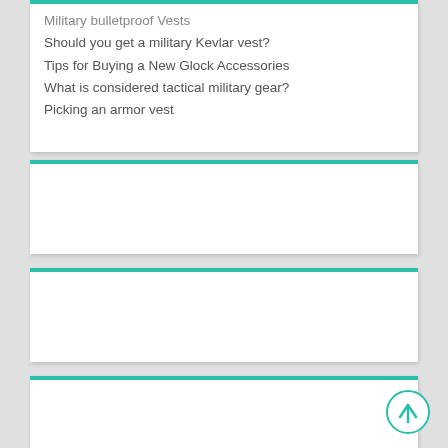Military bulletproof Vests
Should you get a military Kevlar vest?
Tips for Buying a New Glock Accessories
What is considered tactical military gear?
Picking an armor vest
[Figure (other): Empty card widget with teal top border]
[Figure (other): Empty card widget with teal top border]
[Figure (other): Empty card widget with teal top border, partially visible at bottom of page]